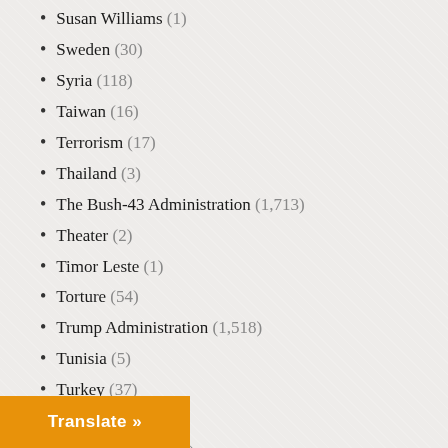Susan Williams (1)
Sweden (30)
Syria (118)
Taiwan (16)
Terrorism (17)
Thailand (3)
The Bush-43 Administration (1,713)
Theater (2)
Timor Leste (1)
Torture (54)
Trump Administration (1,518)
Tunisia (5)
Turkey (37)
U.S. (1,386)
U.S. Congress (112)
U.S. Supreme Courrt (13)
Ukraine (329)
...d (110)
...Emirates (27)